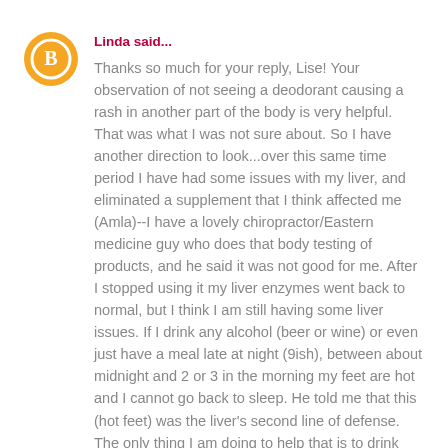[Figure (illustration): Orange circle avatar with white blogger 'B' logo icon]
Linda said...
Thanks so much for your reply, Lise! Your observation of not seeing a deodorant causing a rash in another part of the body is very helpful. That was what I was not sure about. So I have another direction to look...over this same time period I have had some issues with my liver, and eliminated a supplement that I think affected me (Amla)--I have a lovely chiropractor/Eastern medicine guy who does that body testing of products, and he said it was not good for me. After I stopped using it my liver enzymes went back to normal, but I think I am still having some liver issues. If I drink any alcohol (beer or wine) or even just have a meal late at night (9ish), between about midnight and 2 or 3 in the morning my feet are hot and I cannot go back to sleep. He told me that this (hot feet) was the liver's second line of defense. The only thing I am doing to help that is to drink lemon water in the morning. Anyway,